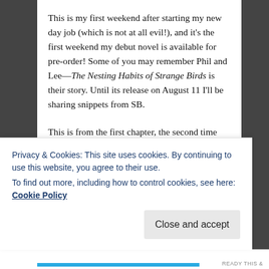This is my first weekend after starting my new day job (which is not at all evil!), and it's the first weekend my debut novel is available for pre-order! Some of you may remember Phil and Lee—The Nesting Habits of Strange Birds is their story. Until its release on August 11 I'll be sharing snippets from SB.
This is from the first chapter, the second time the guys meet. It's a little over the sentence limit, but I promise to return to my conforming ways next week.
Privacy & Cookies: This site uses cookies. By continuing to use this website, you agree to their use.
To find out more, including how to control cookies, see here: Cookie Policy